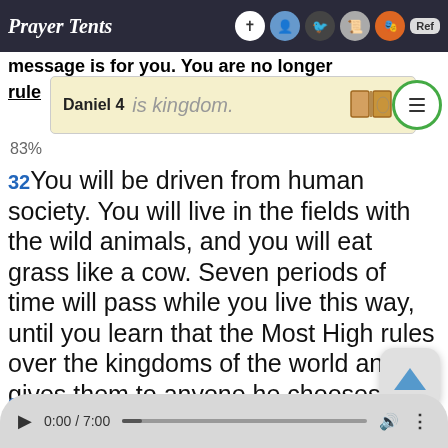Prayer Tents
message is for you. You are no longer rule his kingdom.
Daniel 4
83%
32 You will be driven from human society. You will live in the fields with the wild animals, and you will eat grass like a cow. Seven periods of time will pass while you live this way, until you learn that the Most High rules over the kingdoms of the world and gives them to anyone he chooses.'
33
[Figure (screenshot): Audio player bar showing 0:00 / 7:00 with play button, progress bar, volume icon, and more options icon]